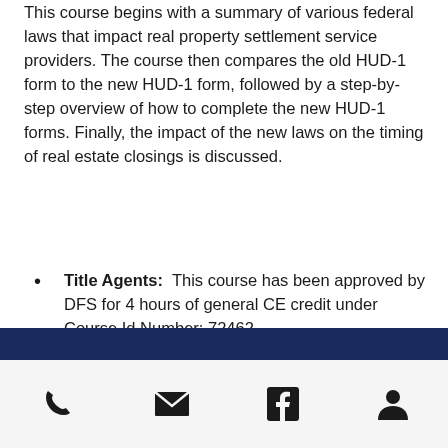This course begins with a summary of various federal laws that impact real property settlement service providers. The course then compares the old HUD-1 form to the new HUD-1 form, followed by a step-by-step overview of how to complete the new HUD-1 forms. Finally, the impact of the new laws on the timing of real estate closings is discussed.
Title Agents:  This course has been approved by DFS for 4 hours of general CE credit under Course Id Number: 72462.
CE Credits: Title Agent - 4
COST: $100.00
Register Now
[Figure (infographic): Dark navy blue footer bar]
[Figure (infographic): Footer icons: phone, email/envelope, Facebook, person/user]